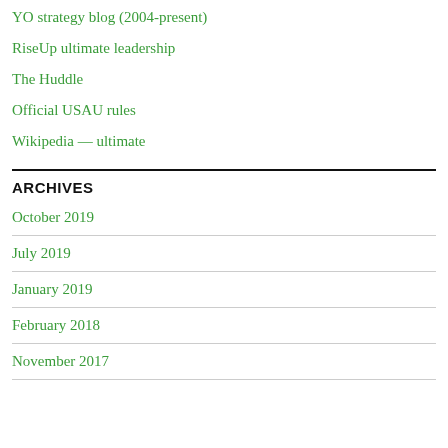YO strategy blog (2004-present)
RiseUp ultimate leadership
The Huddle
Official USAU rules
Wikipedia — ultimate
ARCHIVES
October 2019
July 2019
January 2019
February 2018
November 2017